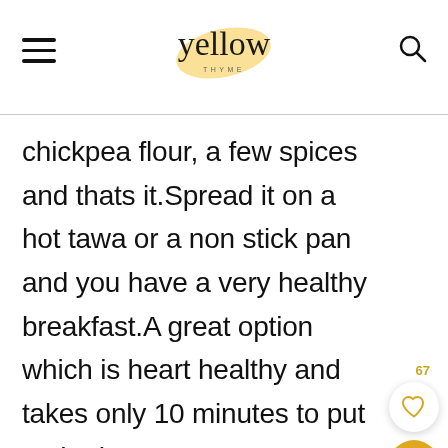yellow thyme (logo)
chickpea flour, a few spices and thats it.Spread it on a hot tawa or a non stick pan and you have a very healthy breakfast.A great option which is heart healthy and takes only 10 minutes to put toghether.